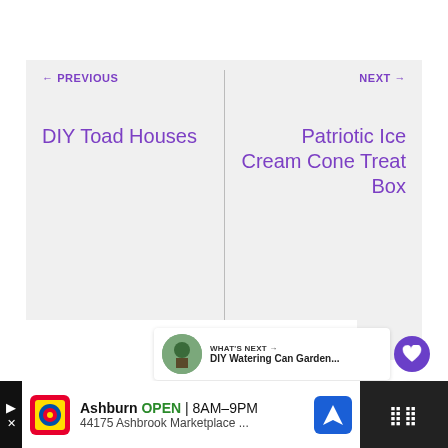← PREVIOUS
DIY Toad Houses
NEXT →
Patriotic Ice Cream Cone Treat Box
WHAT'S NEXT → DIY Watering Can Garden...
Similar Posts
Ashburn OPEN | 8AM–9PM 44175 Ashbrook Marketplace ...